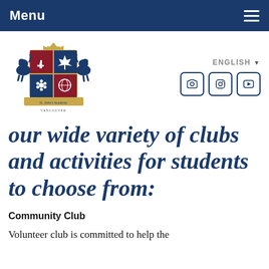Menu
[Figure (logo): St. John's Academy Vancouver crest/coat of arms logo with two lions, a crown, maple leaf, inukshuk, flower, globe symbols, and a banner reading St. John's Academy Vancouver]
our wide variety of clubs and activities for students to choose from:
Community Club
Volunteer club is committed to help the